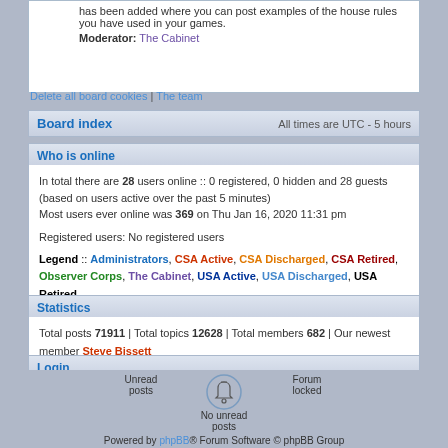has been added where you can post examples of the house rules you have used in your games. Moderator: The Cabinet
Delete all board cookies | The team
Board index    All times are UTC - 5 hours
Who is online
In total there are 28 users online :: 0 registered, 0 hidden and 28 guests (based on users active over the past 5 minutes)
Most users ever online was 369 on Thu Jan 16, 2020 11:31 pm

Registered users: No registered users

Legend :: Administrators, CSA Active, CSA Discharged, CSA Retired, Observer Corps, The Cabinet, USA Active, USA Discharged, USA Retired
Statistics
Total posts 71911 | Total topics 12628 | Total members 682 | Our newest member Steve Bissett
Login
Username:  Password:  Log me on automatically each visit  Login
Unread posts  No unread posts  Forum locked
Powered by phpBB® Forum Software © phpBB Group